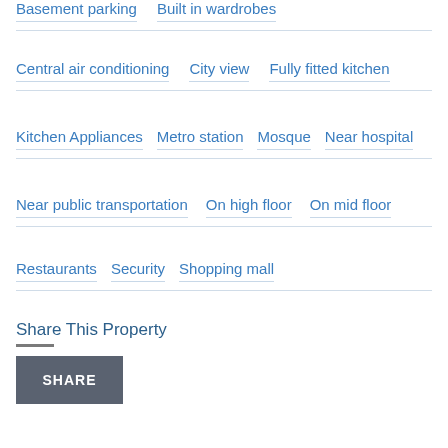Basement parking
Built in wardrobes
Central air conditioning
City view
Fully fitted kitchen
Kitchen Appliances
Metro station
Mosque
Near hospital
Near public transportation
On high floor
On mid floor
Restaurants
Security
Shopping mall
Share This Property
SHARE